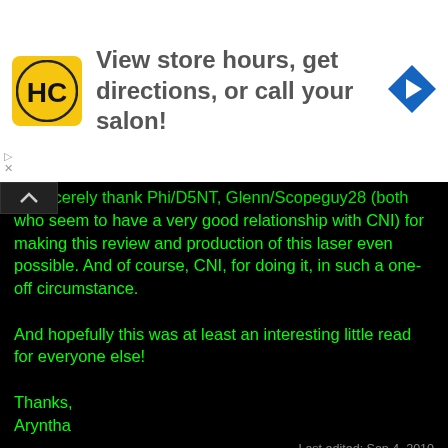[Figure (screenshot): Advertisement banner: HC salon logo, text 'View store hours, get directions, or call your salon!', blue navigation arrow icon on white background]
to sincerely thank Phi/D5NT, Glenn/Scopeguy28 (both who seem to have a very good relationship with CNI) for making this review and production of this laser even possible. And of course, CNI, for doing it, in such a one-off circumstance.

And hopefully this was at least an interesting little read for everyone else!

Thanks,
Aryntha
Last edited: Sep 4, 2010
Antharak, Pman, The_LED_Museum and 9 others
[Figure (screenshot): Bottom advertisement banner with SANWU branding on purple background]